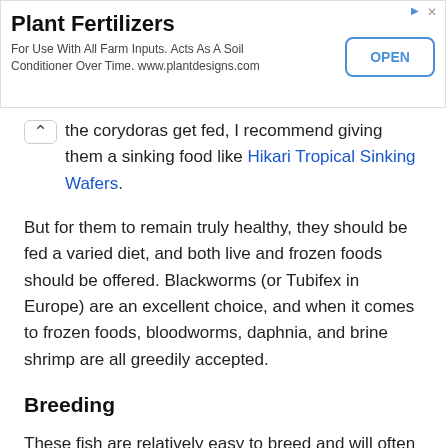[Figure (other): Advertisement banner for Plant Fertilizers with title, subtitle text, and OPEN button]
the corydoras get fed, I recommend giving them a sinking food like Hikari Tropical Sinking Wafers.
But for them to remain truly healthy, they should be fed a varied diet, and both live and frozen foods should be offered. Blackworms (or Tubifex in Europe) are an excellent choice, and when it comes to frozen foods, bloodworms, daphnia, and brine shrimp are all greedily accepted.
Breeding
These fish are relatively easy to breed and will often mate on their own if both males and females are kept together.